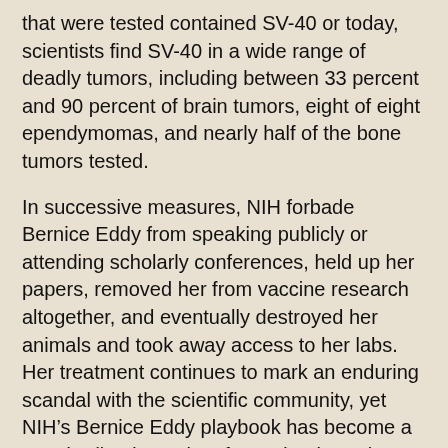that were tested contained SV-40 or today, scientists find SV-40 in a wide range of deadly tumors, including between 33 percent and 90 percent of brain tumors, eight of eight ependymomas, and nearly half of the bone tumors tested.
In successive measures, NIH forbade Bernice Eddy from speaking publicly or attending scholarly conferences, held up her papers, removed her from vaccine research altogether, and eventually destroyed her animals and took away access to her labs. Her treatment continues to mark an enduring scandal with the scientific community, yet NIH’s Bernice Eddy playbook has become a standardized template for Federal vaccine regulators in their treatment of dissident vaccine scientists who seek to tell the truth about vaccines.
Dr. John Anthony Morris was a bacteriologist and virologist who worked for thirty-six years at NIH and the Food and Drug Administration (FDA), beginning in 1940. Morris served as the chief vaccine officer for the Bureau of Biological Standards (BBS) at the National Institute of Health and later with the FDA when the BBS transferred to that agency in the 1970s. Dr. Morris irked his superiors by arguing that the research carried out by his unit demonstrated there was no